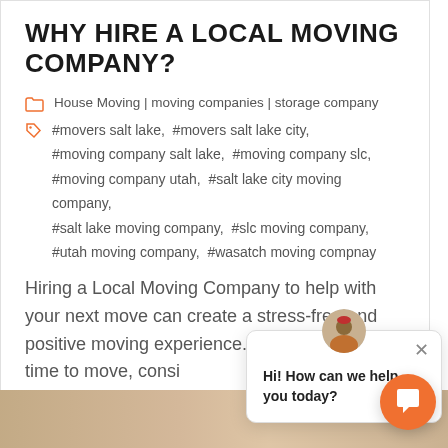WHY HIRE A LOCAL MOVING COMPANY?
House Moving | moving companies | storage company
#movers salt lake,  #movers salt lake city,  #moving company salt lake,  #moving company slc,  #moving company utah,  #salt lake city moving company,  #salt lake moving company,  #slc moving company,  #utah moving company,  #wasatch moving compnay
Hiring a Local Moving Company to help with your next move can create a stress-free and positive moving experience.  When it comes time to move, consi…
READ MORE
[Figure (other): Chat popup overlay with avatar icon, close button (×), and text: Hi! How can we help you today?]
[Figure (other): Orange circular chat button with speech bubble icon at bottom right]